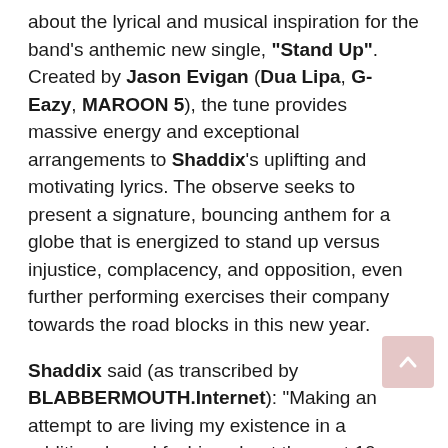about the lyrical and musical inspiration for the band's anthemic new single, "Stand Up". Created by Jason Evigan (Dua Lipa, G-Eazy, MAROON 5), the tune provides massive energy and exceptional arrangements to Shaddix's uplifting and motivating lyrics. The observe seeks to present a signature, bouncing anthem for a globe that is energized to stand up versus injustice, complacency, and opposition, even further performing exercises their company towards the road blocks in this new year.
Shaddix said (as transcribed by BLABBERMOUTH.Internet): "Making an attempt to are living my existence in a additional good fashion about the past 10 many years and looking at life by way of a little bit of a unique lens, I imagine currently being a father has influenced this as well, is producing something that has that good ingredient and just about like a message to myself but also to my youngsters and to the youth and to the individuals. You've gotta stand up for what you feel is correct. And we see folks accomplishing that. And we do not often agree on what you're standing up for or what